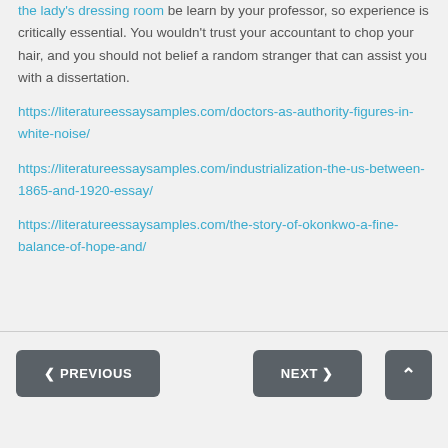the lady's dressing room be learn by your professor, so experience is critically essential. You wouldn't trust your accountant to chop your hair, and you should not belief a random stranger that can assist you with a dissertation.
https://literatureessaysamples.com/doctors-as-authority-figures-in-white-noise/
https://literatureessaysamples.com/industrialization-the-us-between-1865-and-1920-essay/
https://literatureessaysamples.com/the-story-of-okonkwo-a-fine-balance-of-hope-and/
< PREVIOUS   NEXT >